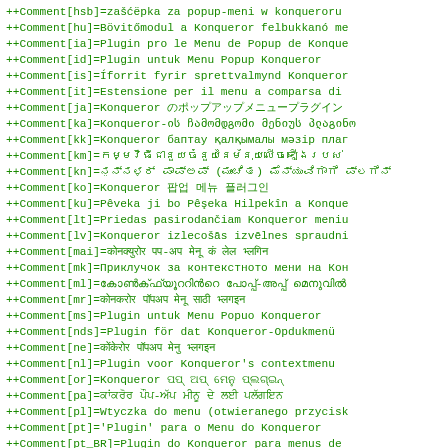++Comment[hsb]=zašćëpka za popup-meni w konqueroru
++Comment[hu]=Bövitőmodul a Konqueror felbukkanó me
++Comment[ia]=Plugin pro le Menu de Popup de Konque
++Comment[id]=Plugin untuk Menu Popup Konqueror
++Comment[is]=Íforrit fyrir sprettvalmynd Konqueror
++Comment[it]=Estensione per il menu a comparsa di
++Comment[ja]=Konqueror のポップアップメニュープラグイン
++Comment[ka]=Konqueror-ის ჩამომდგომი მენიუს პლაგინი
++Comment[kk]=Konqueror баптау қалқымалы мәзір плаг
++Comment[km]=កម្មវិធីជំនួយចំនួននៃម៉ឺនុយលេចឡើងរបស់
++Comment[kn]=ಕಾಂಕ್ಯೂರರ್ ಪಾಪ್‌ಅಪ್ (ಮುಂಚಿತ) ಮೆನ್ಯುವಿಗಾಗಿ ಪ್ಲಗಿನ್
++Comment[ko]=Konqueror 팝업 메뉴 플러그인
++Comment[ku]=Pêveka ji bo Pêşeka Hilpekîn a Konque
++Comment[lt]=Priedas pasirodančiam Konqueror meniu
++Comment[lv]=Konqueror izlecošās izvēlnes spraudni
++Comment[mai]=कोनक्युरोर पप-अप मेनू क' लेल प्लगिन
++Comment[mk]=Приклучок за контекстното мени на Кон
++Comment[ml]=കോൺക്ഫ്യൂററിൻ്റെ പോപ്പ്-അപ്പ് മെനുവിൽ
++Comment[mr]=कोनकरोर पॉपअप मेनू साठी प्लगइन
++Comment[ms]=Plugin untuk Menu Popuo Konqueror
++Comment[nds]=Plugin för dat Konqueror-Opdukmenü
++Comment[ne]=कोंकेरोर पॉपअप मेनु प्लगइन
++Comment[nl]=Plugin voor Konqueror's contextmenu
++Comment[or]=Konqueror ପପ୍ ଅପ୍ ମେନୁ ପ୍ଲଗ୍‌ଇନ୍
++Comment[pa]=ਕਾਂਕਰੋਰ ਪੌਪ-ਅੱਪ ਮੀਨੂ ਦੇ ਲਈ ਪਲੱਗਇਨ
++Comment[pl]=Wtyczka do menu (otwieranego przycisk
++Comment[pt]='Plugin' para o Menu do Konqueror
++Comment[pt_BR]=Plugin do Konqueror para menus de
++Comment[ro]=Extensie pentru meniul popup Konquero
++Comment[ru]=Расширение контекстного меню Конкуеро